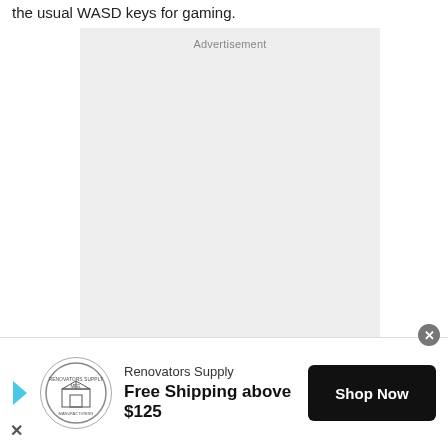the usual WASD keys for gaming.
[Figure (other): Advertisement placeholder box with light gray background and 'Advertisement' label at top]
[Figure (other): Banner advertisement for Renovators Supply showing logo, 'Free Shipping above $125' offer, and 'Shop Now' button]